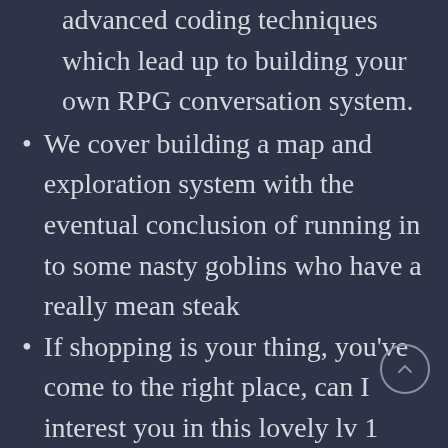advanced coding techniques which lead up to building your own RPG conversation system.
We cover building a map and exploration system with the eventual conclusion of running in to some nasty goblins who have a really mean steak
If shopping is your thing, you've come to the right place, can I interest you in this lovely lv 1 sword. Learn to build a shopping